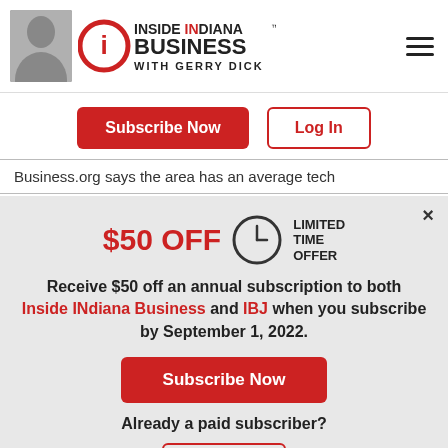[Figure (logo): Inside INdiana Business with Gerry Dick logo with person photo and hamburger menu]
Subscribe Now | Log In buttons
Business.org says the area has an average tech
[Figure (infographic): $50 OFF limited time offer modal popup for Inside INdiana Business and IBJ annual subscription by September 1, 2022]
$50 OFF LIMITED TIME OFFER
Receive $50 off an annual subscription to both Inside INdiana Business and IBJ when you subscribe by September 1, 2022.
Subscribe Now
Already a paid subscriber?
Log In